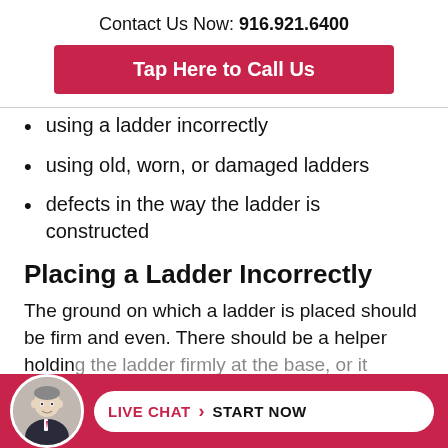Contact Us Now: 916.921.6400
Tap Here to Call Us
using a ladder incorrectly
using old, worn, or damaged ladders
defects in the way the ladder is constructed
Placing a Ladder Incorrectly
The ground on which a ladder is placed should be firm and even. There should be a helper holding the ladder firmly at the base, or it
LIVE CHAT  START NOW